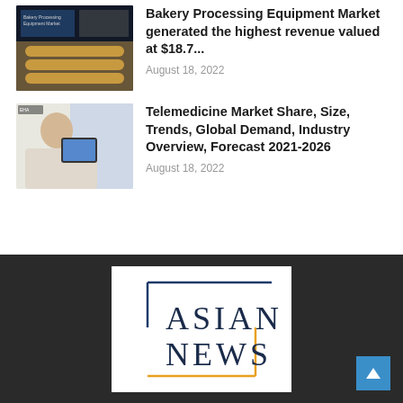[Figure (photo): Thumbnail of bakery processing equipment with bread on conveyor]
Bakery Processing Equipment Market generated the highest revenue valued at $18.7...
August 18, 2022
[Figure (photo): Thumbnail of person using tablet for telemedicine consultation]
Telemedicine Market Share, Size, Trends, Global Demand, Industry Overview, Forecast 2021-2026
August 18, 2022
[Figure (logo): Asian News logo with blue and orange border lines]